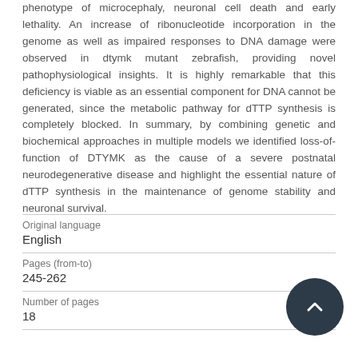phenotype of microcephaly, neuronal cell death and early lethality. An increase of ribonucleotide incorporation in the genome as well as impaired responses to DNA damage were observed in dtymk mutant zebrafish, providing novel pathophysiological insights. It is highly remarkable that this deficiency is viable as an essential component for DNA cannot be generated, since the metabolic pathway for dTTP synthesis is completely blocked. In summary, by combining genetic and biochemical approaches in multiple models we identified loss-of-function of DTYMK as the cause of a severe postnatal neurodegenerative disease and highlight the essential nature of dTTP synthesis in the maintenance of genome stability and neuronal survival.
| Original language | English |
| Pages (from-to) | 245-262 |
| Number of pages | 18 |